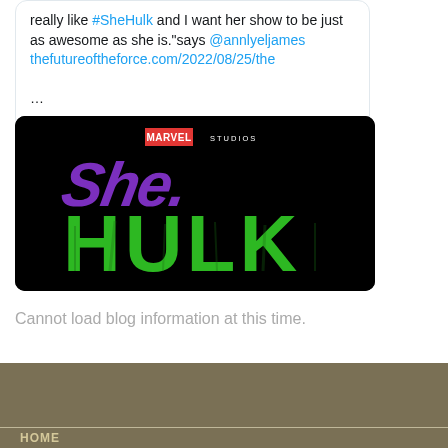really like #SheHulk and I want her show to be just as awesome as she is."says @annlyeljames thefutureoftheforce.com/2022/08/25/the …
[Figure (photo): Marvel Studios She-Hulk logo on black background. Purple stylized 'She' text above large green distressed 'HULK' lettering.]
Cannot load blog information at this time.
HOME